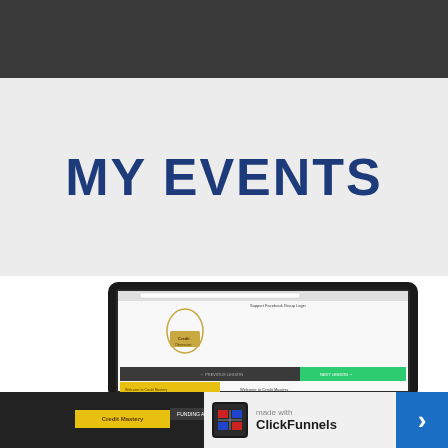[Figure (screenshot): Dark gray header bar at top of page]
MY EVENTS
[Figure (screenshot): Screenshot of a ClickFunnels website (Credit Mastery / Gentle Obsession) shown on a laptop mockup, with smaller tablet and phone mockups partially visible below. Bottom bar shows ClickFunnels branding with 'made with ClickFunnels' text and a blue arrow button.]